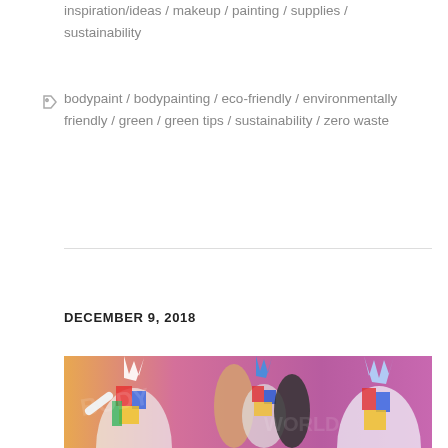inspiration/ideas / makeup / painting / supplies / sustainability
bodypaint / bodypainting / eco-friendly / environmentally friendly / green / green tips / sustainability / zero waste
DECEMBER 9, 2018
[Figure (photo): Three body-painted performers on stage at what appears to be a body painting competition or show, with colorful costumes and elaborate headdresses, against a purple/pink lit background.]